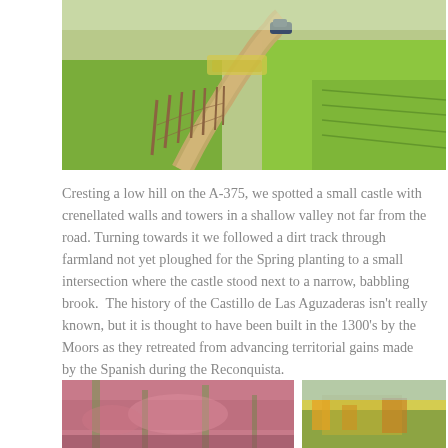[Figure (photo): Winding dirt track through green farmland with a car visible in the distance and wooden fence posts along the path.]
Cresting a low hill on the A-375, we spotted a small castle with crenellated walls and towers in a shallow valley not far from the road. Turning towards it we followed a dirt track through farmland not yet ploughed for the Spring planting to a small intersection where the castle stood next to a narrow, babbling brook.  The history of the Castillo de Las Aguzaderas isn't really known, but it is thought to have been built in the 1300's by the Moors as they retreated from advancing territorial gains made by the Spanish during the Reconquista.
[Figure (photo): Close-up of pink and green spiky plant or flower texture.]
[Figure (photo): Colorful scene with yellow and other colors, partially visible.]